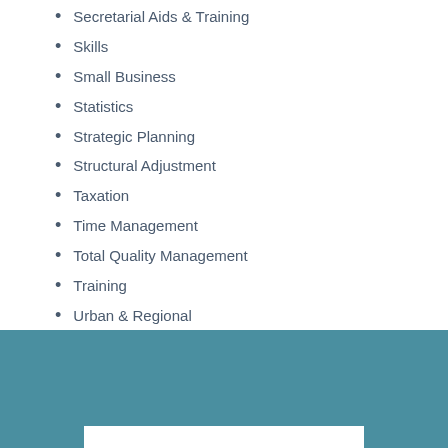Secretarial Aids & Training
Skills
Small Business
Statistics
Strategic Planning
Structural Adjustment
Taxation
Time Management
Total Quality Management
Training
Urban & Regional
Women in Business
Workplace Culture
Workplace Harassment & Discrimination